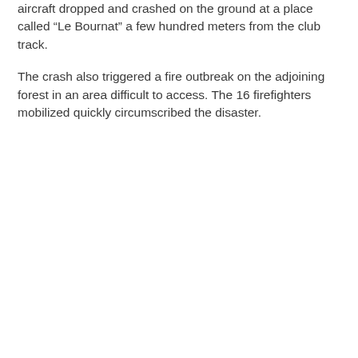aircraft dropped and crashed on the ground at a place called “Le Bournat” a few hundred meters from the club track.
The crash also triggered a fire outbreak on the adjoining forest in an area difficult to access. The 16 firefighters mobilized quickly circumscribed the disaster.